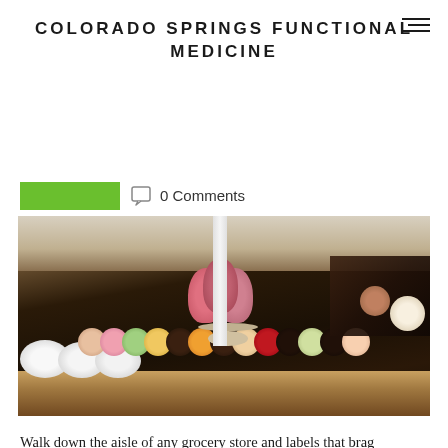COLORADO SPRINGS FUNCTIONAL MEDICINE
0 Comments
[Figure (photo): A display table covered with an abundant variety of decorated pastries, donuts, cakes, and sweet treats in a bakery setting.]
Walk down the aisle of any grocery store and labels that brag about being 'Gluten-Free' will smack you in the face. When this